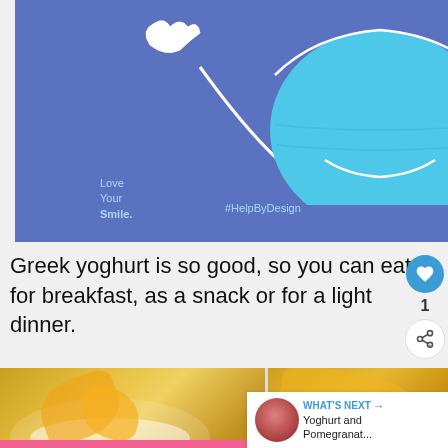[Figure (illustration): Blue background advertisement with a cartoon surgical face mask in the center, two small white hands on the sides, and a smiley face expression. Text reads 'Love Your Smile.' and '#HelpByDesign']
Greek yoghurt is so good, so you can eat it for breakfast, as a snack or for a light dinner.
[Figure (photo): Two side-by-side photos showing Greek yoghurt with orange slices, bananas, and nuts in a glass bowl]
[Figure (infographic): Pink advertisement banner with text 'KINDNESS CAN'T BE QUARANTINED']
WHAT'S NEXT → Yoghurt and Pomegranat...